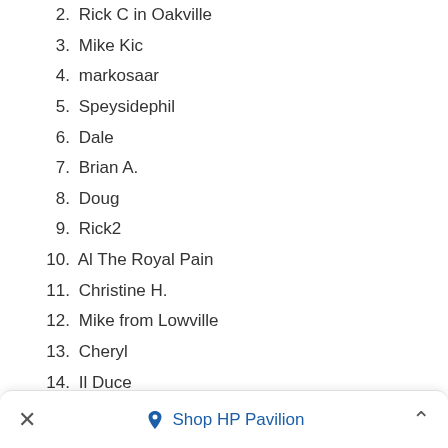2. Rick C in Oakville
3. Mike Kic
4. markosaar
5. Speysidephil
6. Dale
7. Brian A.
8. Doug
9. Rick2
10. Al The Royal Pain
11. Christine H.
12. Mike from Lowville
13. Cheryl
14. Il Duce
15. Michael Muzzin
16. Liz B.
17. Blind Dave
18. Alex Patino
Shop HP Pavilion